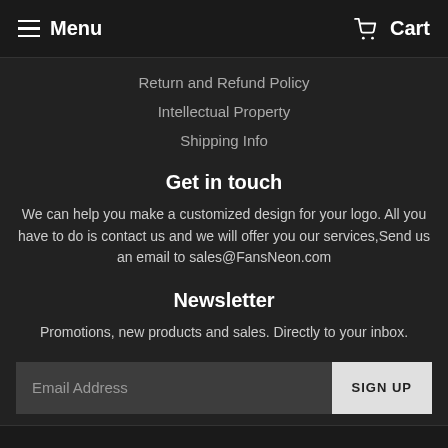Menu  Cart
Return and Refund Policy
Intellectual Property
Shipping Info
Get in touch
We can help you make a customized design for your logo. All you have to do is contact us and we will offer you our services,Send us an email to sales@FansNeon.com
Newsletter
Promotions, new products and sales. Directly to your inbox.
Email Address  SIGN UP